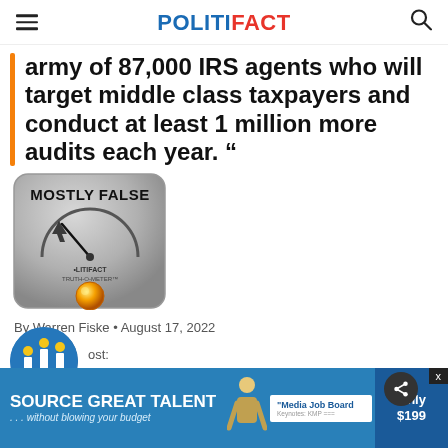POLITIFACT
army of 87,000 IRS agents who will target middle class taxpayers and conduct at least 1 million more audits each year. "
[Figure (illustration): PolitiFact Truth-O-Meter gauge showing MOSTLY FALSE rating with orange indicator light]
By Warren Fiske • August 17, 2022
[Figure (advertisement): Ad banner: SOURCE GREAT TALENT ...without blowing your budget - Media Job Board - Only $199]